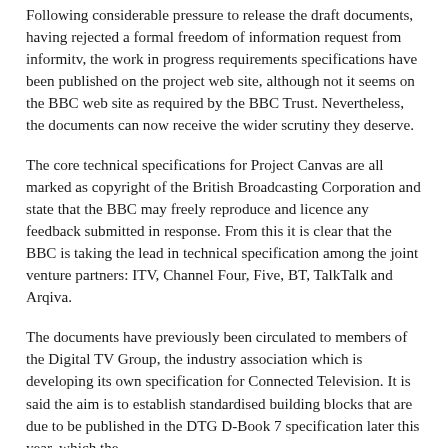Following considerable pressure to release the draft documents, having rejected a formal freedom of information request from informitv, the work in progress requirements specifications have been published on the project web site, although not it seems on the BBC web site as required by the BBC Trust. Nevertheless, the documents can now receive the wider scrutiny they deserve.
The core technical specifications for Project Canvas are all marked as copyright of the British Broadcasting Corporation and state that the BBC may freely reproduce and licence any feedback submitted in response. From this it is clear that the BBC is taking the lead in technical specification among the joint venture partners: ITV, Channel Four, Five, BT, TalkTalk and Arqiva.
The documents have previously been circulated to members of the Digital TV Group, the industry association which is developing its own specification for Connected Television. It is said the aim is to establish standardised building blocks that are due to be published in the DTG D-Book 7 specification later this year, which the